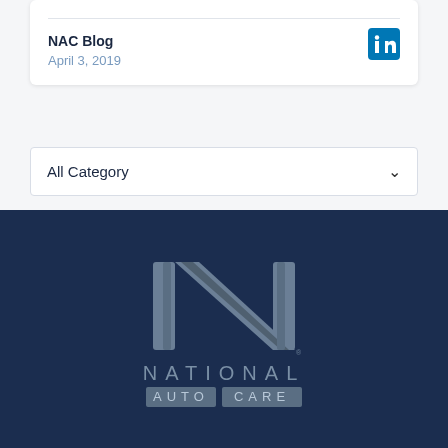NAC Blog
April 3, 2019
All Category
[Figure (logo): National Auto Care logo with stylized N lettermark above text NATIONAL AUTO CARE on dark navy background]